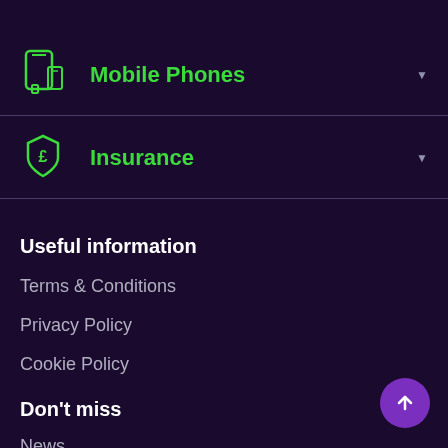Mobile Phones
Insurance
Useful information
Terms & Conditions
Privacy Policy
Cookie Policy
Don't miss
News
Thinq